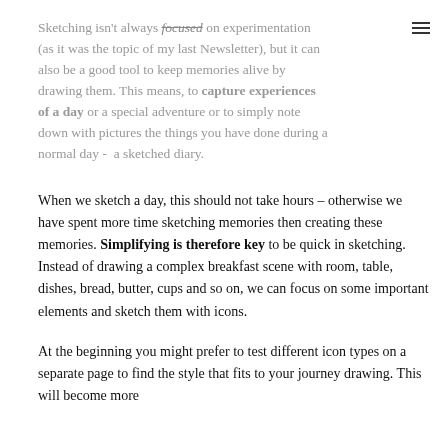Sketching isn't always focused on experimentation (as it was the topic of my last Newsletter), but it can also be a good tool to keep memories alive by drawing them. This means, to capture experiences of a day or a special adventure or to simply note down with pictures the things you have done during a normal day -  a sketched diary.
When we sketch a day, this should not take hours – otherwise we have spent more time sketching memories then creating these memories. Simplifying is therefore key to be quick in sketching. Instead of drawing a complex breakfast scene with room, table, dishes, bread, butter, cups and so on, we can focus on some important elements and sketch them with icons.
At the beginning you might prefer to test different icon types on a separate page to find the style that fits to your journey drawing. This will become more